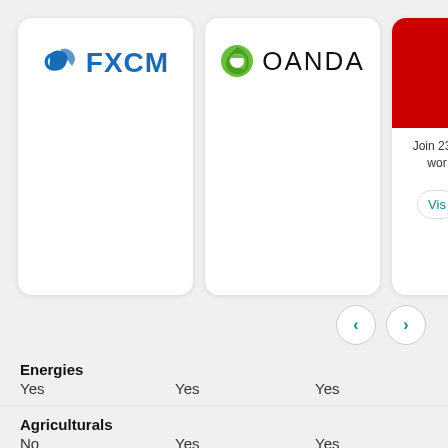[Figure (logo): FXCM broker logo card with blue FXCM branding]
[Figure (logo): OANDA broker logo card with green and black OANDA branding]
[Figure (logo): Partially visible third broker card with red background, text: Join 239, wor... and Vis... button]
Energies
Yes    Yes    Yes
Agriculturals
No    Yes    Yes
ETF
No    No    Ye
U.S. Stocks (CFD)